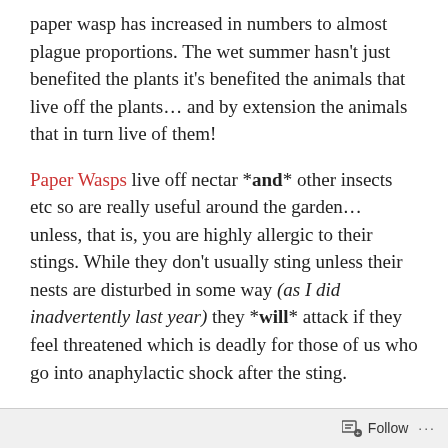paper wasp has increased in numbers to almost plague proportions. The wet summer hasn't just benefited the plants it's benefited the animals that live off the plants… and by extension the animals that in turn live of them!
Paper Wasps live off nectar *and* other insects etc so are really useful around the garden… unless, that is, you are highly allergic to their stings. While they don't usually sting unless their nests are disturbed in some way (as I did inadvertently last year) they *will* attack if they feel threatened which is deadly for those of us who go into anaphylactic shock after the sting.
For this reason I've tried to make sure that none are nesting around our house or on the surrounding vegetation. Obviously I can't do much about the other
Follow ···